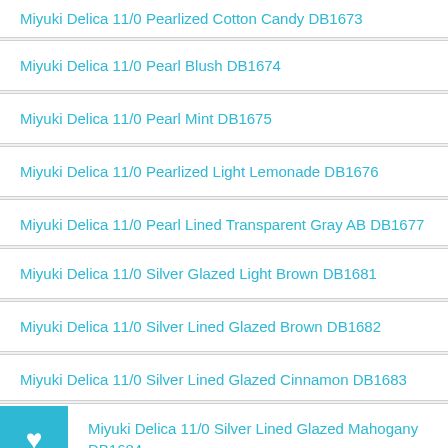Miyuki Delica 11/0 Pearlized Cotton Candy DB1673
Miyuki Delica 11/0 Pearl Blush DB1674
Miyuki Delica 11/0 Pearl Mint DB1675
Miyuki Delica 11/0 Pearlized Light Lemonade DB1676
Miyuki Delica 11/0 Pearl Lined Transparent Gray AB DB1677
Miyuki Delica 11/0 Silver Glazed Light Brown DB1681
Miyuki Delica 11/0 Silver Lined Glazed Brown DB1682
Miyuki Delica 11/0 Silver Lined Glazed Cinnamon DB1683
Miyuki Delica 11/0 Silver Lined Glazed Mahogany DB1684